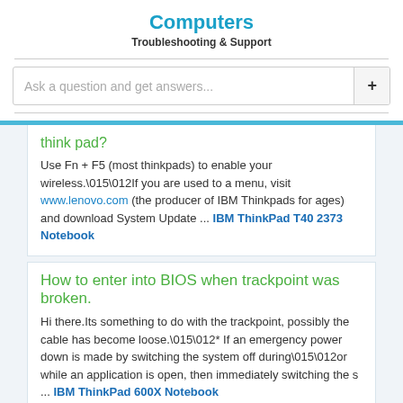Computers
Troubleshooting & Support
[Figure (screenshot): Search bar with placeholder text 'Ask a question and get answers...' and a plus button]
think pad?
Use Fn + F5 (most thinkpads) to enable your wireless.\015\012If you are used to a menu, visit www.lenovo.com (the producer of IBM Thinkpads for ages) and download System Update ... IBM ThinkPad T40 2373 Notebook
How to enter into BIOS when trackpoint was broken.
Hi there.Its something to do with the trackpoint, possibly the cable has become loose.\015\012* If an emergency power down is made by switching the system off during\015\012or while an application is open, then immediately switching the s ... IBM ThinkPad 600X Notebook